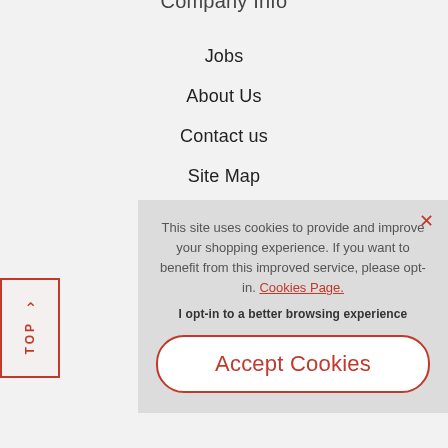Company Info (partial)
Jobs
About Us
Contact us
Site Map
Customer Info
This site uses cookies to provide and improve your shopping experience. If you want to benefit from this improved service, please opt-in. Cookies Page.
I opt-in to a better browsing experience
Accept Cookies